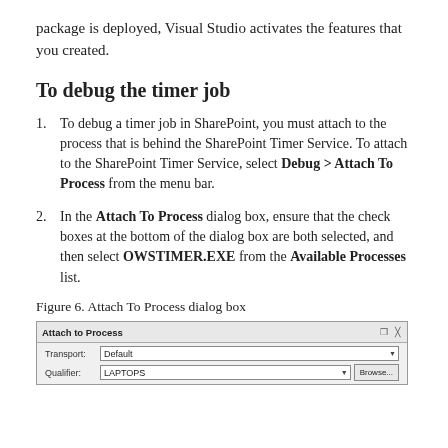package is deployed, Visual Studio activates the features that you created.
To debug the timer job
To debug a timer job in SharePoint, you must attach to the process that is behind the SharePoint Timer Service. To attach to the SharePoint Timer Service, select Debug > Attach To Process from the menu bar.
In the Attach To Process dialog box, ensure that the check boxes at the bottom of the dialog box are both selected, and then select OWSTIMER.EXE from the Available Processes list.
Figure 6. Attach To Process dialog box
[Figure (screenshot): Screenshot of the Attach To Process dialog box showing Transport: Default and Qualifier: LAPTOPS fields with a Browse button]